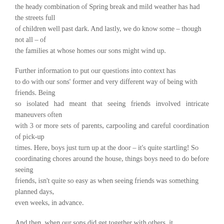the heady combination of Spring break and mild weather has had the streets full of children well past dark. And lastly, we do know some – though not all – of the families at whose homes our sons might wind up.
Further information to put our questions into context has to do with our sons' former and very different way of being with friends. Being so isolated had meant that seeing friends involved intricate maneuvers often with 3 or more sets of parents, carpooling and careful coordination of pick-up times. Here, boys just turn up at the door – it's quite startling! So coordinating chores around the house, things boys need to do before seeing friends, isn't quite so easy as when seeing friends was something planned days, even weeks, in advance.
And then, when our sons did get together with others, it